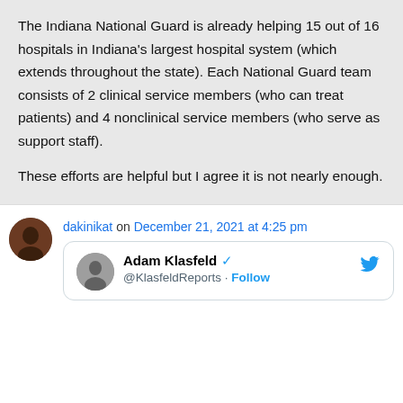The Indiana National Guard is already helping 15 out of 16 hospitals in Indiana's largest hospital system (which extends throughout the state). Each National Guard team consists of 2 clinical service members (who can treat patients) and 4 nonclinical service members (who serve as support staff).

These efforts are helpful but I agree it is not nearly enough.
dakinikat on December 21, 2021 at 4:25 pm
Adam Klasfeld @KlasfeldReports · Follow